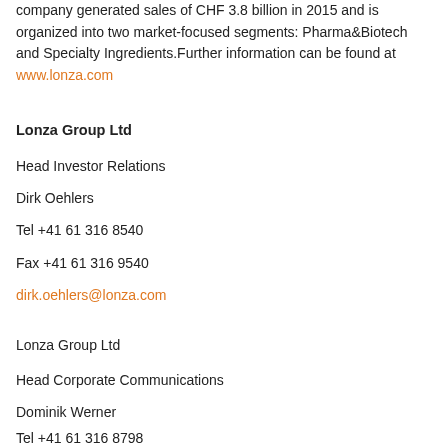company generated sales of CHF 3.8 billion in 2015 and is organized into two market-focused segments: Pharma&Biotech and Specialty Ingredients.Further information can be found at www.lonza.com
Lonza Group Ltd
Head Investor Relations
Dirk Oehlers
Tel +41 61 316 8540
Fax +41 61 316 9540
dirk.oehlers@lonza.com
Lonza Group Ltd
Head Corporate Communications
Dominik Werner
Tel +41 61 316 8798